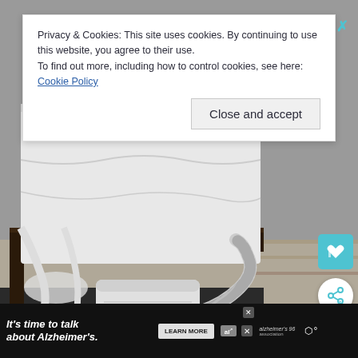[Figure (photo): Photo of a BedJet device placed under a bed on a dark patterned carpet, with a flexible hose connected under the white bedding. The bed has a dark wood frame and white mattress cover.]
Privacy & Cookies: This site uses cookies. By continuing to use this website, you agree to their use.
To find out more, including how to control cookies, see here: Cookie Policy
[Figure (screenshot): Close and accept button for cookie banner]
[Figure (infographic): Advertisement banner: It's time to talk about Alzheimer's. LEARN MORE. Alzheimer's Association logo.]